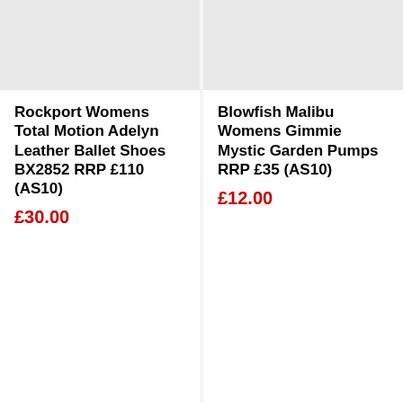[Figure (photo): Product image placeholder for Rockport Womens Total Motion Adelyn Leather Ballet Shoes]
Rockport Womens Total Motion Adelyn Leather Ballet Shoes BX2852 RRP £110 (AS10)
£30.00
[Figure (photo): Product image placeholder for Blowfish Malibu Womens Gimmie Mystic Garden Pumps]
Blowfish Malibu Womens Gimmie Mystic Garden Pumps RRP £35 (AS10)
£12.00